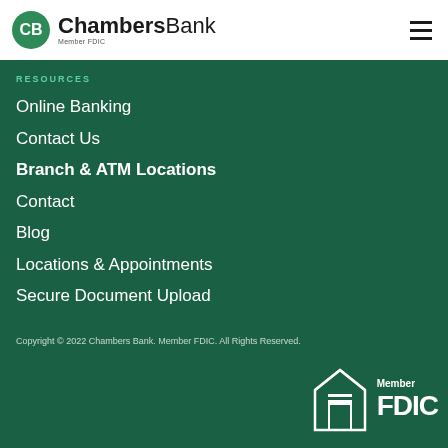[Figure (logo): Chambers Bank logo with CB circle icon, bold text 'ChambersBank', and 'Member FDIC' subtitle]
RESOURCES
Online Banking
Contact Us
Branch & ATM Locations
Contact
Blog
Locations & Appointments
Secure Document Upload
Copyright © 2022 Chambers Bank. Member FDIC. All Rights Reserved.
[Figure (logo): Equal Housing Lender house icon with equals sign and 'EQUAL HOUSING LENDER' text, alongside 'Member FDIC' badge]